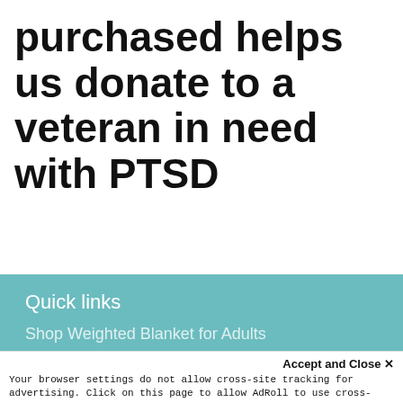purchased helps us donate to a veteran in need with PTSD
Quick links
Shop Weighted Blanket for Adults
Accept and Close ×
Your browser settings do not allow cross-site tracking for advertising. Click on this page to allow AdRoll to use cross-site tracking to tailor ads to you. Learn more or opt out of this AdRoll tracking by clicking here. This message only appears once.